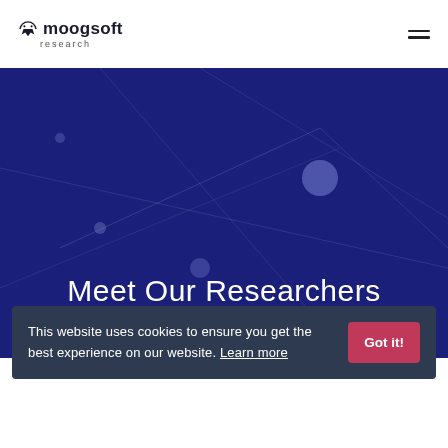moogsoft research
[Figure (screenshot): Moogsoft Research website navigation bar with logo (bull icon + 'moogsoft' text + 'research' subtext) on the left and a hamburger menu icon on the right]
Meet Our Researchers
This website uses cookies to ensure you get the best experience on our website. Learn more
Got it!